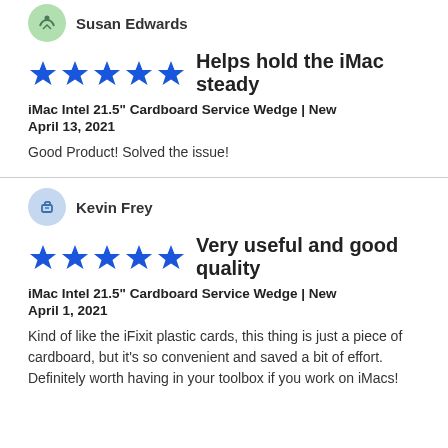Susan Edwards
Helps hold the iMac steady
iMac Intel 21.5" Cardboard Service Wedge | New
April 13, 2021
Good Product! Solved the issue!
Kevin Frey
Very useful and good quality
iMac Intel 21.5" Cardboard Service Wedge | New
April 1, 2021
Kind of like the iFixit plastic cards, this thing is just a piece of cardboard, but it's so convenient and saved a bit of effort. Definitely worth having in your toolbox if you work on iMacs!